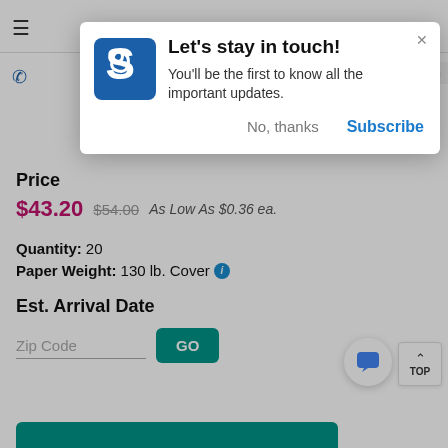[Figure (screenshot): Modal popup with logo, title 'Let’s stay in touch!', subtitle text, and No thanks/Subscribe buttons overlaying a product page]
Back
Price
$43.20  $54.00  As Low As $0.36 ea.
Quantity: 20
Paper Weight: 130 lb. Cover
Est. Arrival Date
Zip Code  GO